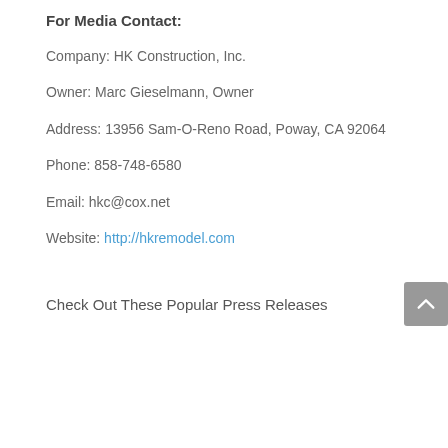For Media Contact:
Company: HK Construction, Inc.
Owner: Marc Gieselmann, Owner
Address: 13956 Sam-O-Reno Road, Poway, CA 92064
Phone: 858-748-6580
Email: hkc@cox.net
Website: http://hkremodel.com
Check Out These Popular Press Releases